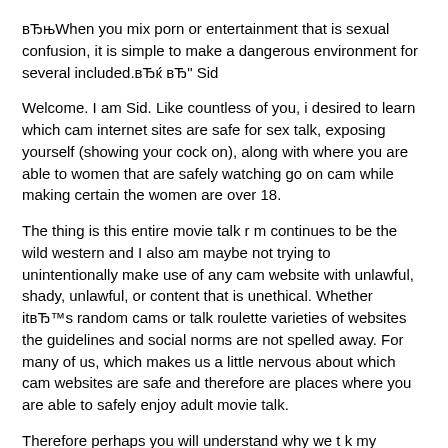вЂњWhen you mix porn or entertainment that is sexual confusion, it is simple to make a dangerous environment for several included.вЂќ вЂ" Sid
Welcome. I am Sid. Like countless of you, i desired to learn which cam internet sites are safe for sex talk, exposing yourself (showing your cock on), along with where you are able to women that are safely watching go on cam while making certain the women are over 18.
The thing is this entire movie talk r m continues to be the wild western and I also am maybe not trying to unintentionally make use of any cam website with unlawful, shady, unlawful, or content that is unethical. Whether itвЂ™s random cams or talk roulette varieties of websites the guidelines and social norms are not spelled away. For many of us, which makes us a little nervous about which cam websites are safe and therefore are places where you are able to safely enjoy adult movie talk.
Therefore perhaps you will understand why we t k my passion for viewing adult cams and parlayed that into a resource for other individuals; a destination where i will share which cam internet sites are safe.